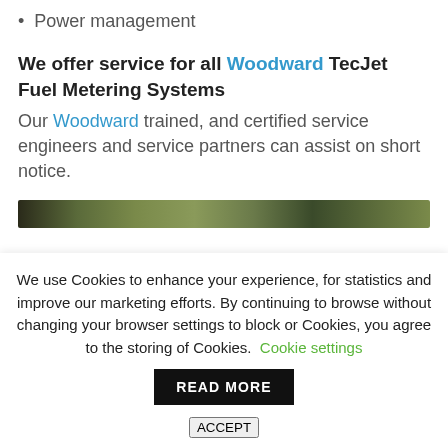Power management
We offer service for all Woodward TecJet Fuel Metering Systems
Our Woodward trained, and certified service engineers and service partners can assist on short notice.
[Figure (photo): Partial image strip showing outdoor/industrial scene]
We use Cookies to enhance your experience, for statistics and improve our marketing efforts. By continuing to browse without changing your browser settings to block or Cookies, you agree to the storing of Cookies. Cookie settings READ MORE ACCEPT